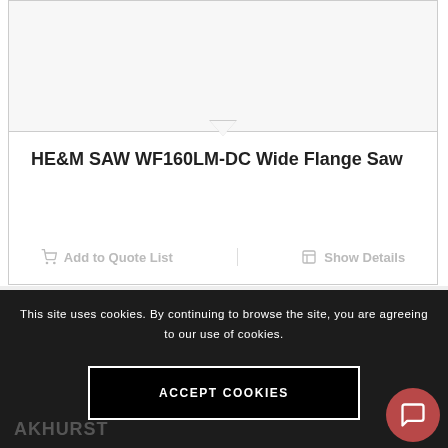[Figure (screenshot): Product card with triangle notch at top and bottom border, showing product name and action buttons]
HE&M SAW WF160LM-DC Wide Flange Saw
Add to Quote List
Show Details
This site uses cookies. By continuing to browse the site, you are agreeing to our use of cookies.
ACCEPT COOKIES
AKHURST